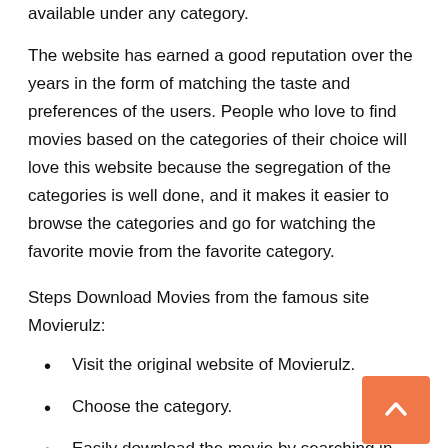available under any category.
The website has earned a good reputation over the years in the form of matching the taste and preferences of the users. People who love to find movies based on the categories of their choice will love this website because the segregation of the categories is well done, and it makes it easier to browse the categories and go for watching the favorite movie from the favorite category.
Steps Download Movies from the famous site Movierulz:
Visit the original website of Movierulz.
Choose the category.
Easily download the movie by searching in